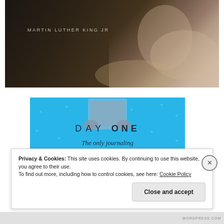[Figure (photo): Black and white portrait photograph of Martin Luther King Jr. with text 'MARTIN LUTHER KING JR' overlaid on the dark left portion of the image.]
[Figure (screenshot): Advertisement banner for Day One journaling app with blue background, plus signs as decoration, an icon of hands holding a journal, text 'DAY ONE — The only journaling app you'll ever need.' and a 'Get the app' button.]
Privacy & Cookies: This site uses cookies. By continuing to use this website, you agree to their use.
To find out more, including how to control cookies, see here: Cookie Policy
Close and accept